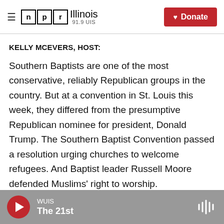NPR Illinois 91.9 UIS | Donate
KELLY MCEVERS, HOST:
Southern Baptists are one of the most conservative, reliably Republican groups in the country. But at a convention in St. Louis this week, they differed from the presumptive Republican nominee for president, Donald Trump. The Southern Baptist Convention passed a resolution urging churches to welcome refugees. And Baptist leader Russell Moore defended Muslims' right to worship.
(SOUNDBITE OF ARCHIVED RECORDING)
WUIS | The 21st